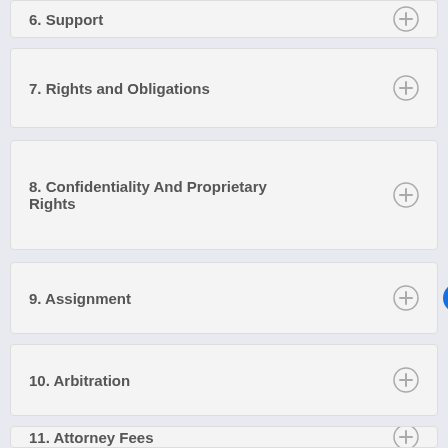6. Support
7. Rights and Obligations
8. Confidentiality And Proprietary Rights
9. Assignment
10. Arbitration
11. Attorney Fees
12. Limited Liability